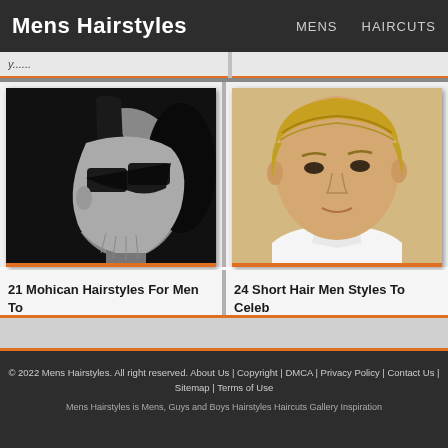Mens Hairstyles  MENS  HAIRCUTS
[Figure (photo): Black and white photo of a man with a mohican/faux hawk hairstyle wearing sunglasses, seen from side profile]
21 Mohican Hairstyles For Men To
[Figure (photo): Color photo of a young man with short blond hair wearing a white shirt]
24 Short Hair Men Styles To Celeb
© 2022 Mens Hairstyles. All right reserved. About Us | Copyright | DMCA | Privacy Policy | Contact Us | Sitemap | Terms of Use
Mens Hairstyles is Mens, Guys and Boys Hairstyles Haircuts Gallery Inspiration